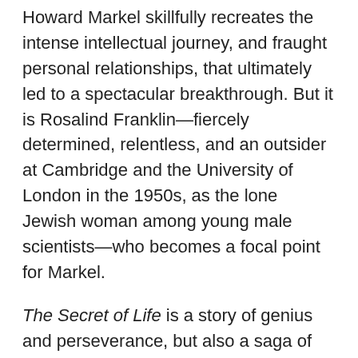Howard Markel skillfully recreates the intense intellectual journey, and fraught personal relationships, that ultimately led to a spectacular breakthrough. But it is Rosalind Franklin—fiercely determined, relentless, and an outsider at Cambridge and the University of London in the 1950s, as the lone Jewish woman among young male scientists—who becomes a focal point for Markel.
The Secret of Life is a story of genius and perseverance, but also a saga of cronyism, misogyny, anti-Semitism, and misconduct. Drawing on voluminous archival research, including interviews with James Watson and with Franklin's sister, Jenifer Glynn, Markel provides a fascinating look at how science is done, how reputations are undone, and how history is written, and revised.
A vibrant evocation of Cambridge in the 1950s, Markel also provides a colorful depiction of Watson and Crick, their im...